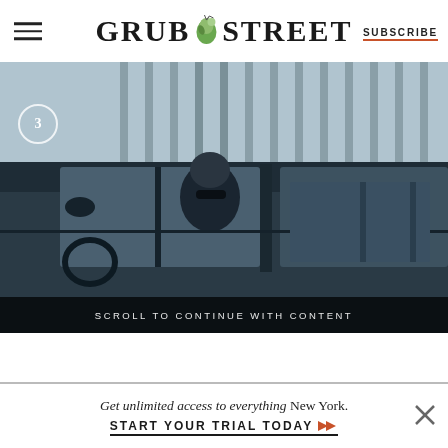GRUB STREET | SUBSCRIBE
[Figure (photo): A person visible through the window of a dark-colored car, side profile, wearing sunglasses. The background shows vertical slat structures.]
SCROLL TO CONTINUE WITH CONTENT
Get unlimited access to everything New York. START YOUR TRIAL TODAY